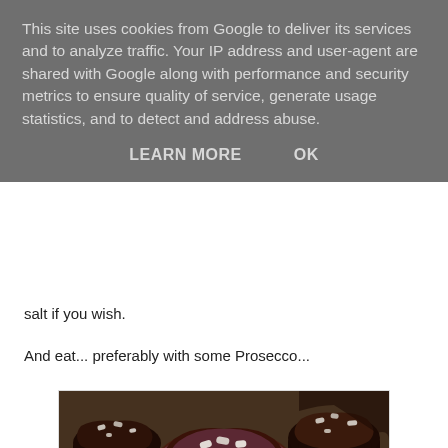This site uses cookies from Google to deliver its services and to analyze traffic. Your IP address and user-agent are shared with Google along with performance and security metrics to ensure quality of service, generate usage statistics, and to detect and address abuse.
LEARN MORE   OK
salt if you wish.
And eat... preferably with some Prosecco...
[Figure (photo): Three chocolate cupcakes topped with glossy chocolate ganache and white sea salt flakes, arranged together, photographed close-up with warm tones.]